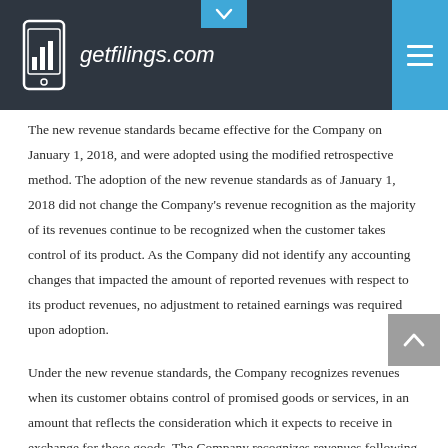getfilings.com
The new revenue standards became effective for the Company on January 1, 2018, and were adopted using the modified retrospective method. The adoption of the new revenue standards as of January 1, 2018 did not change the Company's revenue recognition as the majority of its revenues continue to be recognized when the customer takes control of its product. As the Company did not identify any accounting changes that impacted the amount of reported revenues with respect to its product revenues, no adjustment to retained earnings was required upon adoption.
Under the new revenue standards, the Company recognizes revenues when its customer obtains control of promised goods or services, in an amount that reflects the consideration which it expects to receive in exchange for those goods. The Company recognizes revenues following